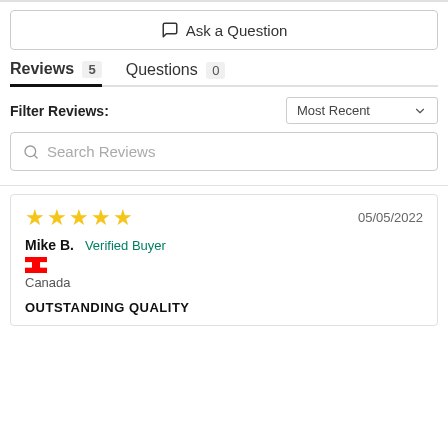Ask a Question
Reviews 5   Questions 0
Filter Reviews:
Most Recent
Search Reviews
05/05/2022
Mike B.  Verified Buyer
Canada
OUTSTANDING QUALITY